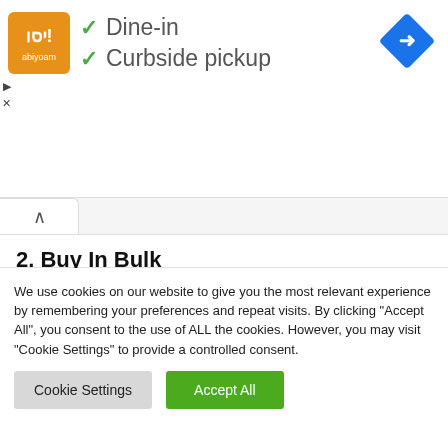[Figure (logo): Orange square logo with white text/symbol, resembling a restaurant brand mark]
✓ Dine-in
✓ Curbside pickup
[Figure (illustration): Blue diamond-shaped map/navigation icon with white arrow]
2. Buy In Bulk
Like most items, buying in bulk will save you some cash.
We use cookies on our website to give you the most relevant experience by remembering your preferences and repeat visits. By clicking "Accept All", you consent to the use of ALL the cookies. However, you may visit "Cookie Settings" to provide a controlled consent.